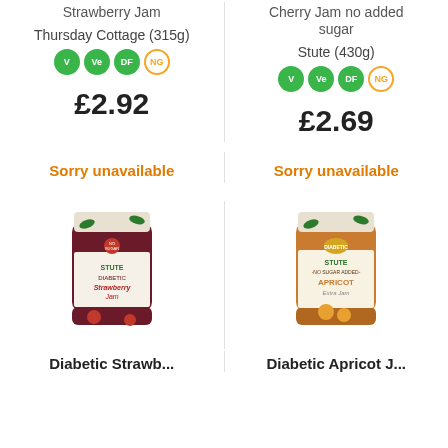Strawberry Jam
Cherry Jam no added sugar
Thursday Cottage (315g)
Stute (430g)
£2.92
£2.69
Sorry unavailable
Sorry unavailable
[Figure (photo): Jar of Stute Diabetic Strawberry Jam]
[Figure (photo): Jar of Stute No Sugar Added Apricot Jam]
Diabetic Strawb...
Diabetic Apricot J...